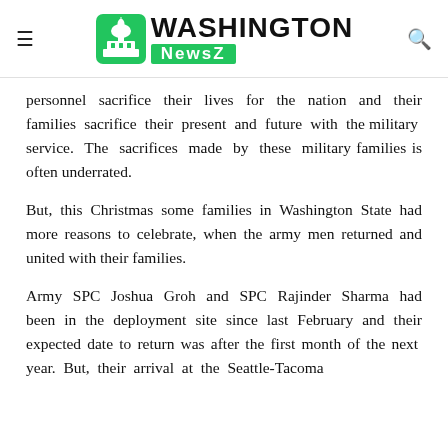Washington NewsZ
personnel sacrifice their lives for the nation and their families sacrifice their present and future with the military service. The sacrifices made by these military families is often underrated.
But, this Christmas some families in Washington State had more reasons to celebrate, when the army men returned and united with their families.
Army SPC Joshua Groh and SPC Rajinder Sharma had been in the deployment site since last February and their expected date to return was after the first month of the next year. But, their arrival at the Seattle-Tacoma